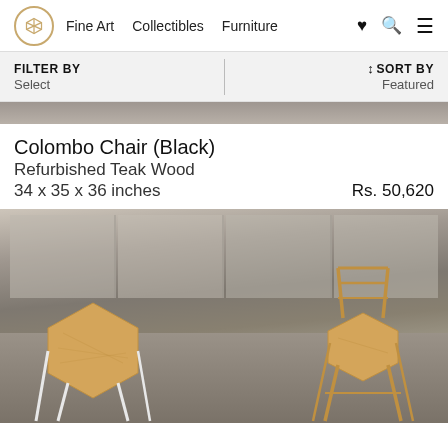Fine Art  Collectibles  Furniture
FILTER BY
Select
↕SORT BY
Featured
[Figure (photo): Partial top view of the Colombo Chair (Black) product image, showing a textured stone/marble surface.]
Colombo Chair (Black)
Refurbished Teak Wood
34 x 35 x 36 inches
Rs. 50,620
[Figure (photo): Two wooden furniture pieces — a hexagonal side table (left) and a chair with geometric frame (right) — photographed in an industrial warehouse space with concrete walls and floor.]